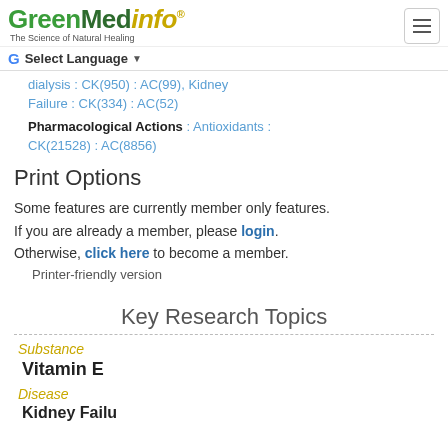GreenMedinfo — The Science of Natural Healing
dialysis : CK(950) : AC(99), Kidney Failure : CK(334) : AC(52)
Pharmacological Actions : Antioxidants : CK(21528) : AC(8856)
Print Options
Some features are currently member only features. If you are already a member, please login. Otherwise, click here to become a member.
Printer-friendly version
Key Research Topics
Substance
Vitamin E
Disease
Kidney Failure